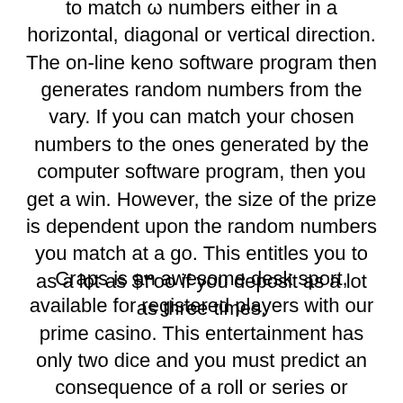to match ω numbers either in a horizontal, diagonal or vertical direction. The on-line keno software program then generates random numbers from the vary. If you can match your chosen numbers to the ones generated by the computer software program, then you get a win. However, the size of the prize is dependent upon the random numbers you match at a go. This entitles you to as a lot as $۳oo if you deposit as a lot as three times.
Craps is an awesome desk sport, available for registered players with our prime casino. This entertainment has only two dice and you must predict an consequence of a roll or series or rounds. We strongly suggest for newbies to